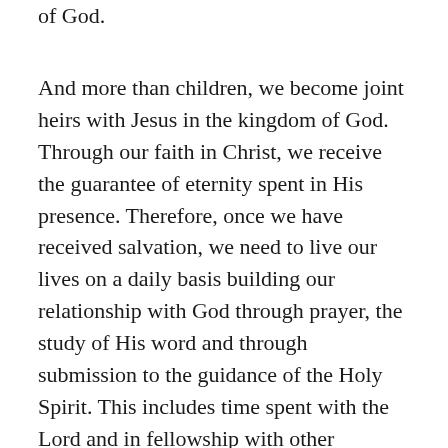of God.
And more than children, we become joint heirs with Jesus in the kingdom of God. Through our faith in Christ, we receive the guarantee of eternity spent in His presence. Therefore, once we have received salvation, we need to live our lives on a daily basis building our relationship with God through prayer, the study of His word and through submission to the guidance of the Holy Spirit. This includes time spent with the Lord and in fellowship with other believers. This is important because with our adoption comes the indwelling of the Holy Spirit who begins God’s process of spiritual growth in us. A growth which changes us from the inside out. The Holy Spirit helps us to grow in God’s wisdom, because He helps us to better understand God’s word in light of who Jesus is and what He has done for us. And when we walk with Christ on a daily basis, we accelerate and strengthen the process of spiritual growth carried out by the Holy Spirit